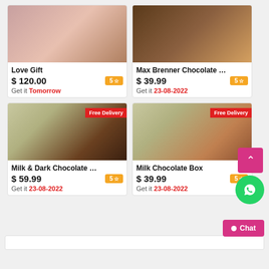[Figure (photo): Love Gift product photo - red heart box with teddy bear and flowers]
Love Gift
$ 120.00  5 ☆  Get it Tomorrow
[Figure (photo): Max Brenner Chocolate product photo - brown chocolate box]
Max Brenner Chocolate …
$ 39.99  5 ☆  Get it 23-08-2022
[Figure (photo): Milk & Dark Chocolate box with Free Delivery badge]
Milk & Dark Chocolate …
$ 59.99  5 ☆  Get it 23-08-2022
[Figure (photo): Milk Chocolate Box with Free Delivery badge]
Milk Chocolate Box
$ 39.99  5 ☆  Get it 23-08-2022